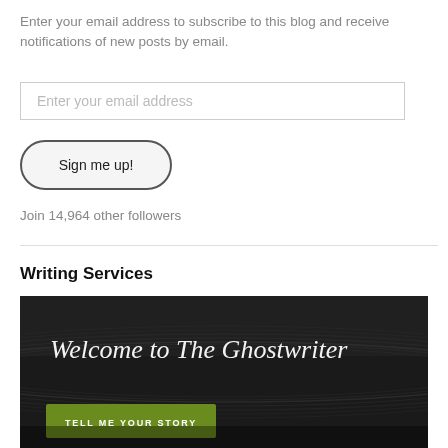Enter your email address to subscribe to this blog and receive notifications of new posts by email.
Enter your email address
Sign me up!
Join 14,964 other followers
Writing Services
[Figure (photo): Dark background image resembling a vinyl record with cursive white text reading 'Welcome to The Ghostwriter' and a green button labeled 'TELL ME YOUR STORY']